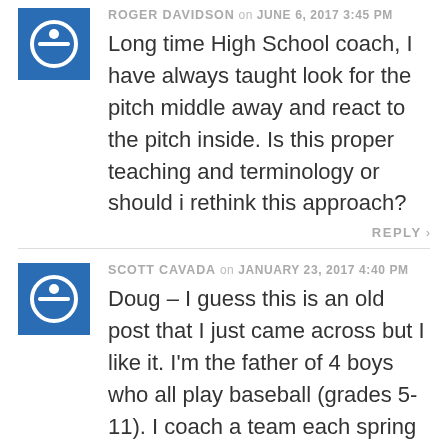ROGER DAVIDSON on JUNE 6, 2017 3:45 PM
Long time High School coach, I have always taught look for the pitch middle away and react to the pitch inside. Is this proper teaching and terminology or should i rethink this approach?
REPLY >
SCOTT CAVADA on JANUARY 23, 2017 4:40 PM
Doug – I guess this is an old post that I just came across but I like it. I'm the father of 4 boys who all play baseball (grades 5-11). I coach a team each spring and fall, helping out